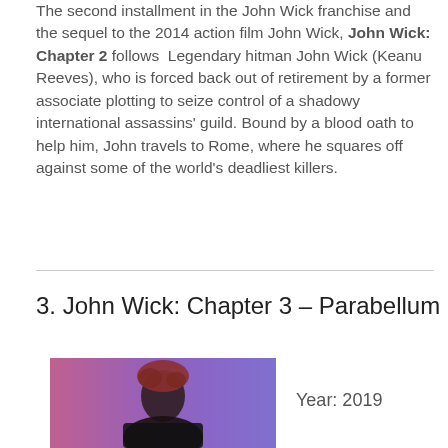The second installment in the John Wick franchise and the sequel to the 2014 action film John Wick, John Wick: Chapter 2 follows Legendary hitman John Wick (Keanu Reeves), who is forced back out of retirement by a former associate plotting to seize control of a shadowy international assassins' guild. Bound by a blood oath to help him, John travels to Rome, where he squares off against some of the world's deadliest killers.
3. John Wick: Chapter 3 – Parabellum
[Figure (photo): Photo from John Wick: Chapter 3 – Parabellum showing a figure with reddish/purple lighting]
Year: 2019